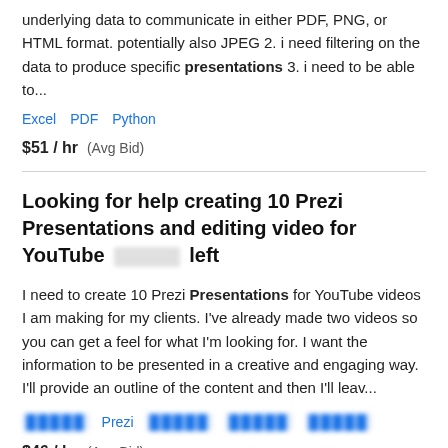underlying data to communicate in either PDF, PNG, or HTML format. potentially also JPEG 2. i need filtering on the data to produce specific presentations 3. i need to be able to...
Excel  PDF  Python
$51 / hr  (Avg Bid)
Looking for help creating 10 Prezi Presentations and editing video for YouTube  [blurred] left
I need to create 10 Prezi Presentations for YouTube videos I am making for my clients. I've already made two videos so you can get a feel for what I'm looking for. I want the information to be presented in a creative and engaging way. I'll provide an outline of the content and then I'll leav...
[blurred]  Prezi  [blurred]  [blurred]  [blurred]
$46 / hr  (Avg Bid)